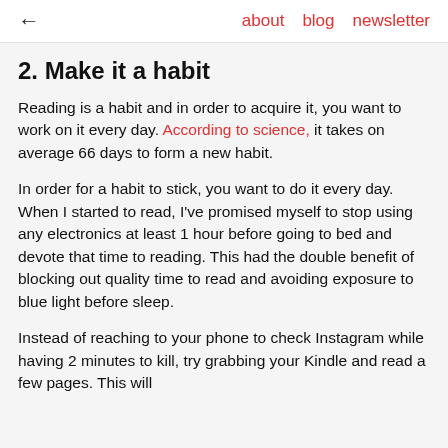← about blog newsletter
2. Make it a habit
Reading is a habit and in order to acquire it, you want to work on it every day. According to science, it takes on average 66 days to form a new habit.
In order for a habit to stick, you want to do it every day. When I started to read, I've promised myself to stop using any electronics at least 1 hour before going to bed and devote that time to reading. This had the double benefit of blocking out quality time to read and avoiding exposure to blue light before sleep.
Instead of reaching to your phone to check Instagram while having 2 minutes to kill, try grabbing your Kindle and read a few pages. This will